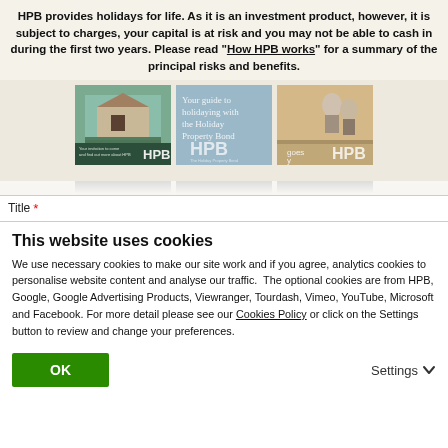HPB provides holidays for life. As it is an investment product, however, it is subject to charges, your capital is at risk and you may not be able to cash in during the first two years. Please read "How HPB works" for a summary of the principal risks and benefits.
[Figure (photo): Three HPB brochure covers side by side: a stone cottage photo, a light blue 'Your guide to holidaying with the Holiday Property Bond' cover, and a family-by-pool photo.]
Title *
This website uses cookies
We use necessary cookies to make our site work and if you agree, analytics cookies to personalise website content and analyse our traffic.  The optional cookies are from HPB, Google, Google Advertising Products, Viewranger, Tourdash, Vimeo, YouTube, Microsoft and Facebook. For more detail please see our Cookies Policy or click on the Settings button to review and change your preferences.
OK
Settings